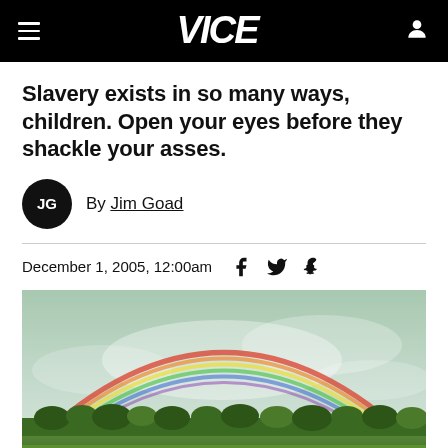VICE
Slavery exists in so many ways, children. Open your eyes before they shackle your asses.
By Jim Goad
December 1, 2005, 12:00am
[Figure (photo): A wide rainbow arching over a green field with trees on the horizon and a cloudy sky]